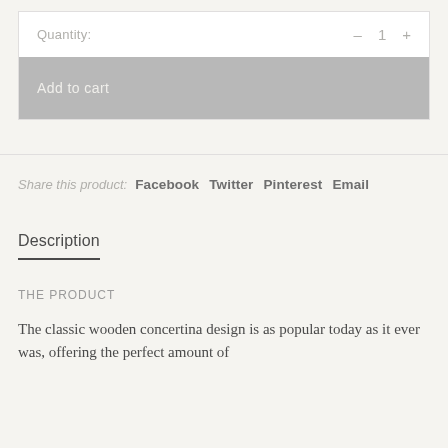Quantity: - 1 +
Add to cart
Share this product: Facebook Twitter Pinterest Email
Description
THE PRODUCT
The classic wooden concertina design is as popular today as it ever was, offering the perfect amount of